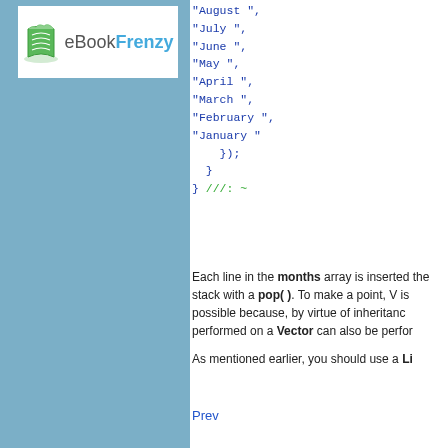[Figure (logo): eBookFrenzy logo with green book icon and blue/grey text]
"August ",
"July ",
"June ",
"May ",
"April ",
"March ",
"February ",
"January "
});
}
} ///: ~
Each line in the months array is inserted the stack with a pop( ). To make a point, V is possible because, by virtue of inheritance, performed on a Vector can also be perfor
As mentioned earlier, you should use a Li
Prev